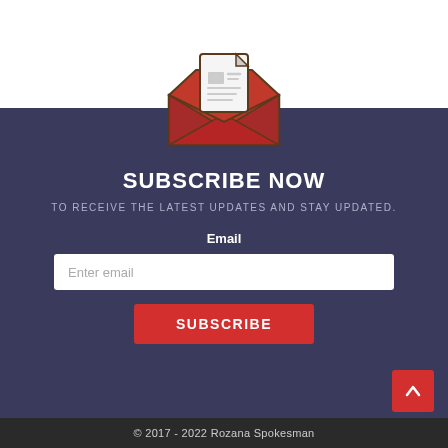[Figure (illustration): Red open envelope with a document/newsletter sticking out of the top, illustrated icon style with dark outline]
SUBSCRIBE NOW
TO RECEIVE THE LATEST UPDATES AND STAY UPDATED.
Email
Enter email
SUBSCRIBE
© 2017 - 2022 Rozana Spokesman